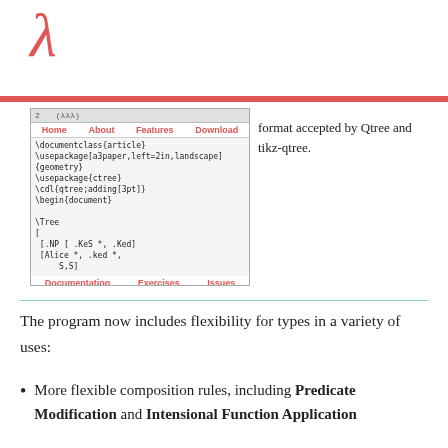λ
[Figure (screenshot): Screenshot of a browser window showing a code editor with LaTeX code including \documentclass{article}, \usepackage{a3paper...}, \usepackage{ctree}, \cdl{qtree;adding[3pt]}, \begin{document}, \Tree, [, [.NP [ .KeS *, .Ked], [Alice *, .ked *, .S,S]], with navigation links Home, About, Features, Download, Documentation, Exercises, Issues]
format accepted by Qtree and tikz-qtree.
The program now includes flexibility for types in a variety of uses:
More flexible composition rules, including Predicate Modification and Intensional Function Application